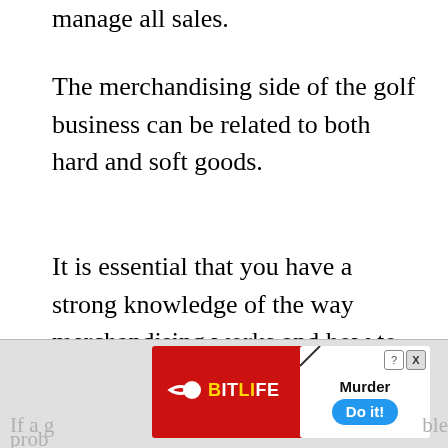manage all sales.
The merchandising side of the golf business can be related to both hard and soft goods.
It is essential that you have a strong knowledge of the way merchandising works and how to sell and appeal to customers properly.
If a g... prob... ble
[Figure (screenshot): Advertisement overlay showing BitLife app ad with Murder Do it! text on blue button, red background with BitLife logo, and close/help buttons]